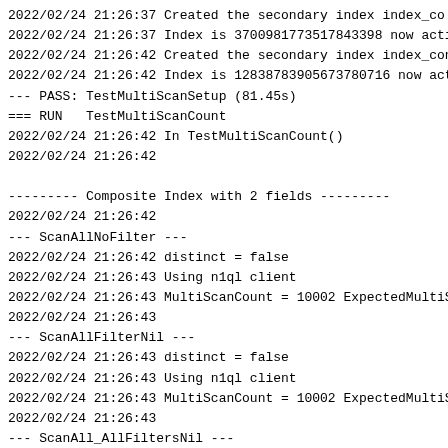2022/02/24 21:26:37 Created the secondary index index_co
2022/02/24 21:26:37 Index is 3700981773517843398 now acti
2022/02/24 21:26:42 Created the secondary index index_con
2022/02/24 21:26:42 Index is 12838783905673780716 now act
--- PASS: TestMultiScanSetup (81.45s)
=== RUN   TestMultiScanCount
2022/02/24 21:26:42 In TestMultiScanCount()
2022/02/24 21:26:42

--------- Composite Index with 2 fields ---------
2022/02/24 21:26:42
--- ScanAllNoFilter ---
2022/02/24 21:26:42 distinct = false
2022/02/24 21:26:43 Using n1ql client
2022/02/24 21:26:43 MultiScanCount = 10002 ExpectedMultiS
2022/02/24 21:26:43
--- ScanAllFilterNil ---
2022/02/24 21:26:43 distinct = false
2022/02/24 21:26:43 Using n1ql client
2022/02/24 21:26:43 MultiScanCount = 10002 ExpectedMultiS
2022/02/24 21:26:43
--- ScanAll_AllFiltersNil ---
2022/02/24 21:26:43 distinct = false
2022/02/24 21:26:44 Using n1ql client
2022/02/24 21:26:44 MultiScanCount = 10002 ExpectedMultiS
2022/02/24 21:26:44
--- SingleSeek ---
2022/02/24 21:26:44 distinct = false
2022/02/24 21:26:44 Using n1ql client
2022/02/24 21:26:44 MultiScanCount = 1 ExpectedMultiScanC